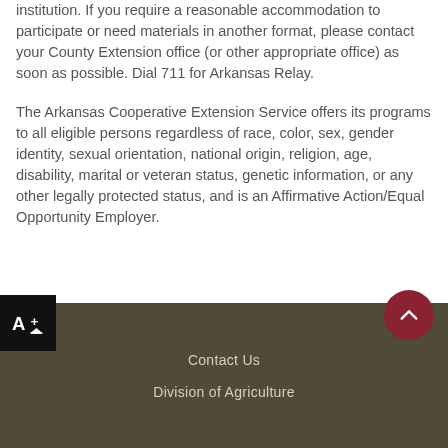institution. If you require a reasonable accommodation to participate or need materials in another format, please contact your County Extension office (or other appropriate office) as soon as possible. Dial 711 for Arkansas Relay.
The Arkansas Cooperative Extension Service offers its programs to all eligible persons regardless of race, color, sex, gender identity, sexual orientation, national origin, religion, age, disability, marital or veteran status, genetic information, or any other legally protected status, and is an Affirmative Action/Equal Opportunity Employer.
Contact Us
Division of Agriculture